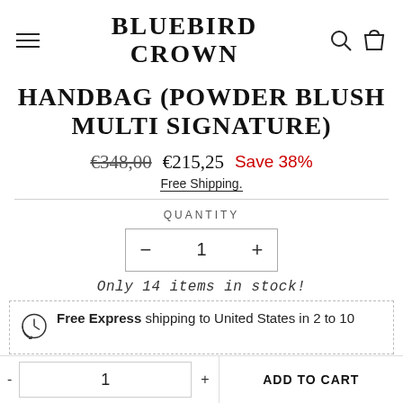BLUEBIRD CROWN
HANDBAG (POWDER BLUSH MULTI SIGNATURE)
€348,00  €215,25  Save 38%
Free Shipping.
QUANTITY
- 1 +
Only 14 items in stock!
Free Express shipping to United States in 2 to 10
- 1 + ADD TO CART